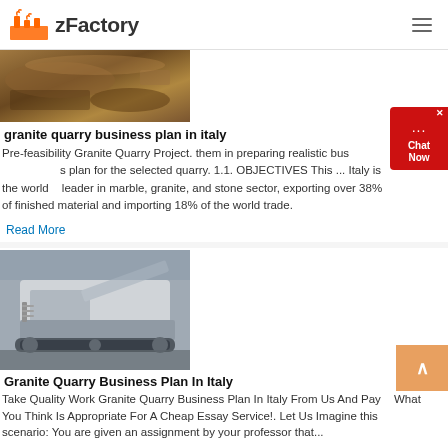zFactory
[Figure (photo): Aerial/ground view of a granite quarry excavation site with earth and machinery]
granite quarry business plan in italy
Pre-feasibility Granite Quarry Project. them in preparing realistic business plan for the selected quarry. 1.1. OBJECTIVES This ... Italy is the world leader in marble, granite, and stone sector, exporting over 38% of finished material and importing 18% of the world trade.
Read More
[Figure (photo): Mobile stone crushing machine / quarry equipment on tracked platform outdoors]
Granite Quarry Business Plan In Italy
Take Quality Work Granite Quarry Business Plan In Italy From Us And Pay What You Think Is Appropriate For A Cheap Essay Service!. Let Us Imagine this scenario: You are given an assignment by your professor that...